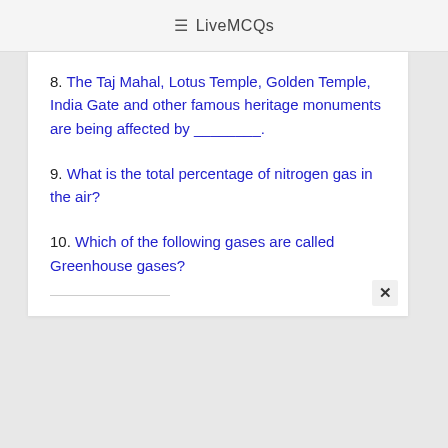≡ LiveMCQs
8. The Taj Mahal, Lotus Temple, Golden Temple, India Gate and other famous heritage monuments are being affected by ________.
9. What is the total percentage of nitrogen gas in the air?
10. Which of the following gases are called Greenhouse gases?